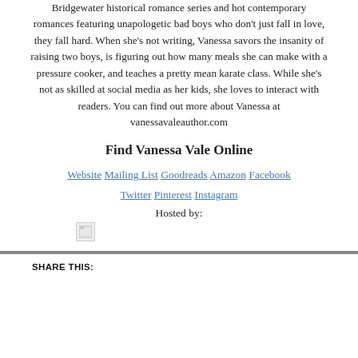Bridgewater historical romance series and hot contemporary romances featuring unapologetic bad boys who don't just fall in love, they fall hard. When she's not writing, Vanessa savors the insanity of raising two boys, is figuring out how many meals she can make with a pressure cooker, and teaches a pretty mean karate class. While she's not as skilled at social media as her kids, she loves to interact with readers. You can find out more about Vanessa at vanessavaleauthor.com
Find Vanessa Vale Online
Website Mailing List Goodreads Amazon Facebook Twitter Pinterest Instagram
Hosted by:
[Figure (other): Broken/missing image placeholder (small icon)]
SHARE THIS: